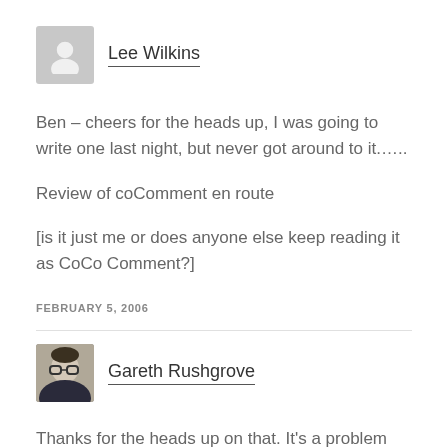Lee Wilkins
Ben – cheers for the heads up, I was going to write one last night, but never got around to it.….
Review of coComment en route
[is it just me or does anyone else keep reading it as CoCo Comment?]
FEBRUARY 5, 2006
Gareth Rushgrove
Thanks for the heads up on that. It's a problem